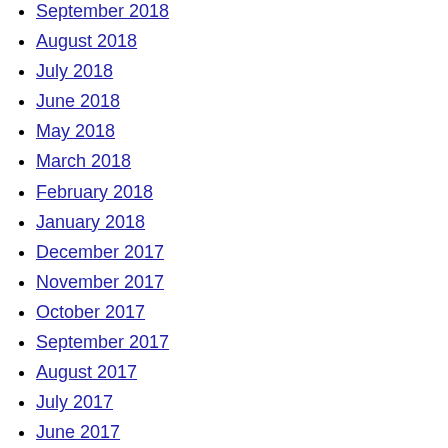September 2018
August 2018
July 2018
June 2018
May 2018
March 2018
February 2018
January 2018
December 2017
November 2017
October 2017
September 2017
August 2017
July 2017
June 2017
May 2017
April 2017
October 2016
September 2016
August 2016
Categories
Android
Apple